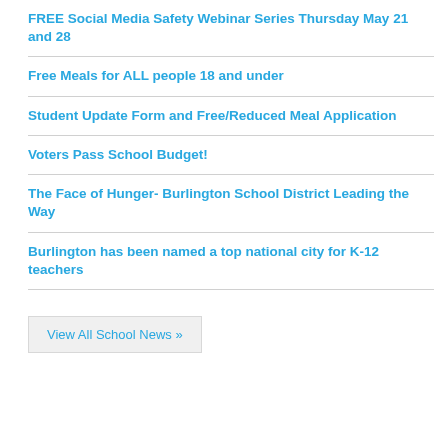FREE Social Media Safety Webinar Series Thursday May 21 and 28
Free Meals for ALL people 18 and under
Student Update Form and Free/Reduced Meal Application
Voters Pass School Budget!
The Face of Hunger- Burlington School District Leading the Way
Burlington has been named a top national city for K-12 teachers
View All School News »